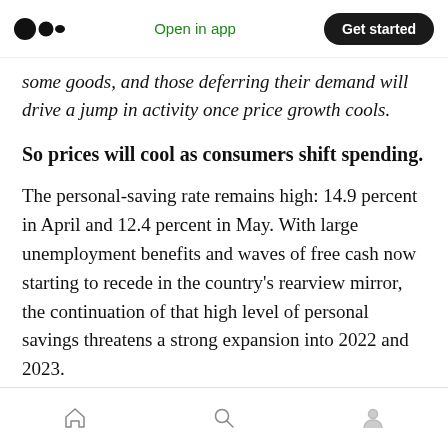Open in app | Get started
some goods, and those deferring their demand will drive a jump in activity once price growth cools.
So prices will cool as consumers shift spending.
The personal-saving rate remains high: 14.9 percent in April and 12.4 percent in May. With large unemployment benefits and waves of free cash now starting to recede in the country's rearview mirror, the continuation of that high level of personal savings threatens a strong expansion into 2022 and 2023.
Home | Search | Profile